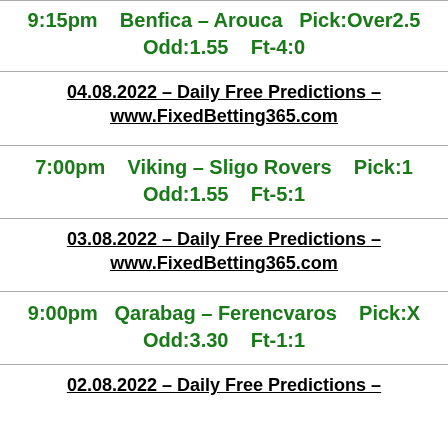9:15pm   Benfica – Arouca   Pick:Over2.5  Odd:1.55   Ft-4:0
04.08.2022 – Daily Free Predictions – www.FixedBetting365.com
7:00pm   Viking – Sligo Rovers   Pick:1  Odd:1.55   Ft-5:1
03.08.2022 – Daily Free Predictions – www.FixedBetting365.com
9:00pm   Qarabag – Ferencvaros   Pick:X  Odd:3.30   Ft-1:1
02.08.2022 – Daily Free Predictions –